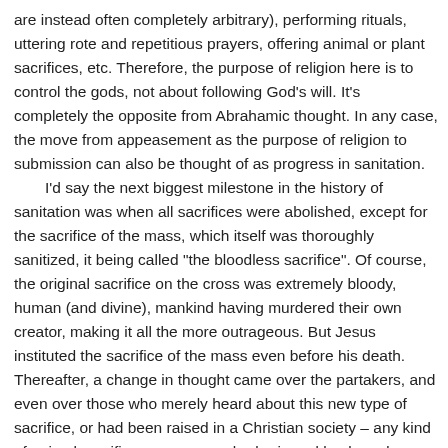are instead often completely arbitrary), performing rituals, uttering rote and repetitious prayers, offering animal or plant sacrifices, etc. Therefore, the purpose of religion here is to control the gods, not about following God's will. It's completely the opposite from Abrahamic thought. In any case, the move from appeasement as the purpose of religion to submission can also be thought of as progress in sanitation.
	I'd say the next biggest milestone in the history of sanitation was when all sacrifices were abolished, except for the sacrifice of the mass, which itself was thoroughly sanitized, it being called "the bloodless sacrifice". Of course, the original sacrifice on the cross was extremely bloody, human (and divine), mankind having murdered their own creator, making it all the more outrageous. But Jesus instituted the sacrifice of the mass even before his death. Thereafter, a change in thought came over the partakers, and even over those who merely heard about this new type of sacrifice, or had been raised in a Christian society – any kind of animal sacrifice was seen as barbaric and backwards. There was pity for the poor animal and disgust at the bloodshed. Things are so much tidier now with our plant sacrifice of wheat and wine, familiar and harmless staples of the everyday diet.